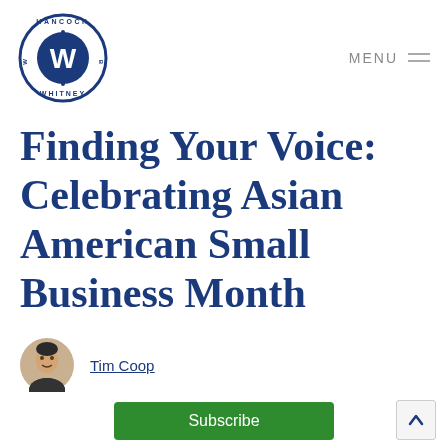Hancock Whitney — MENU
Finding Your Voice: Celebrating Asian American Small Business Month
Tim Coop
May 26, 2021
Subscribe